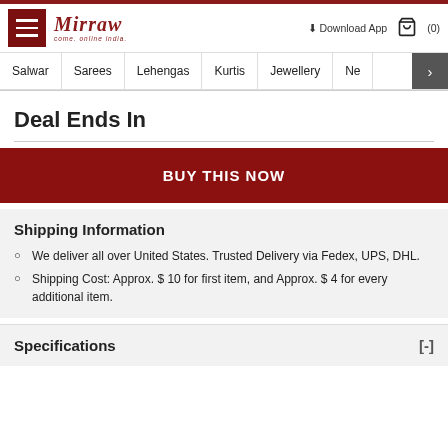Mirraw — Download App (0)
Salwar | Sarees | Lehengas | Kurtis | Jewellery | Ne
Deal Ends In
BUY THIS NOW
Shipping Information
We deliver all over United States. Trusted Delivery via Fedex, UPS, DHL.
Shipping Cost: Approx. $ 10 for first item, and Approx. $ 4 for every additional item.
Specifications [-]